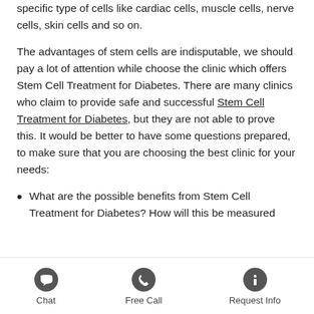specific type of cells like cardiac cells, muscle cells, nerve cells, skin cells and so on.
The advantages of stem cells are indisputable, we should pay a lot of attention while choose the clinic which offers Stem Cell Treatment for Diabetes. There are many clinics who claim to provide safe and successful Stem Cell Treatment for Diabetes, but they are not able to prove this. It would be better to have some questions prepared, to make sure that you are choosing the best clinic for your needs:
What are the possible benefits from Stem Cell Treatment for Diabetes? How will this be measured
Chat | Free Call | Request Info